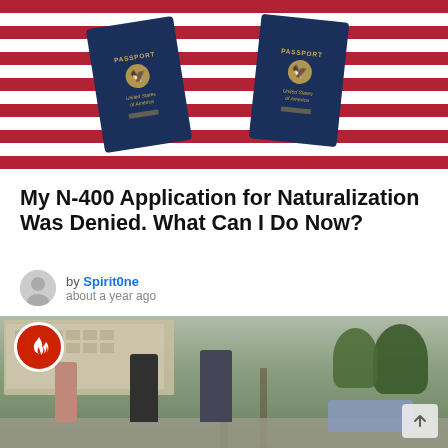[Figure (photo): Two US passports lying on an American flag with red and white stripes background]
My N-400 Application for Naturalization Was Denied. What Can I Do Now?
by Spirit0ne
about a year ago
[Figure (photo): Street scene with police officers stopping people near a car, outdoors in a city with buildings and trees in background. Fire/hot badge icon overlay in top-left corner.]